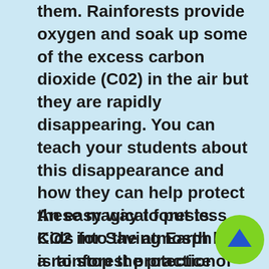them.  Rainforests provide oxygen and soak up some of the excess carbon dioxide (C02) in the air but they are rapidly disappearing.  You can teach your students about this disappearance and how they can help protect these magical forests.  Kids for Saving Earth has a rainforest protection location in Costa Rica.  Find out how you can donate to this project.  You will be rewarded with a certificate and a beautiful rainforest poster.
An easy way to put less CO2 into the atmosphere is to stop the practice of idling your cars, trucks and buses. No Idling will help you start a campaign
[Figure (other): Green circular scroll-to-top button with an upward-pointing blue arrow]